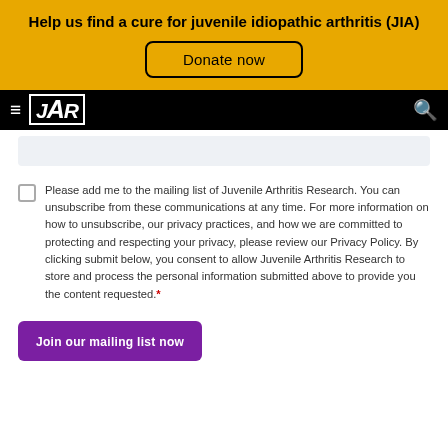Help us find a cure for juvenile idiopathic arthritis (JIA)
Donate now
JAR navigation bar
Please add me to the mailing list of Juvenile Arthritis Research. You can unsubscribe from these communications at any time. For more information on how to unsubscribe, our privacy practices, and how we are committed to protecting and respecting your privacy, please review our Privacy Policy. By clicking submit below, you consent to allow Juvenile Arthritis Research to store and process the personal information submitted above to provide you the content requested.*
Join our mailing list now